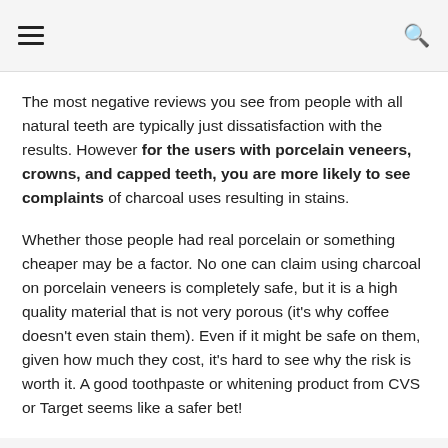≡  🔍
The most negative reviews you see from people with all natural teeth are typically just dissatisfaction with the results. However for the users with porcelain veneers, crowns, and capped teeth, you are more likely to see complaints of charcoal uses resulting in stains.
Whether those people had real porcelain or something cheaper may be a factor. No one can claim using charcoal on porcelain veneers is completely safe, but it is a high quality material that is not very porous (it's why coffee doesn't even stain them). Even if it might be safe on them, given how much they cost, it's hard to see why the risk is worth it. A good toothpaste or whitening product from CVS or Target seems like a safer bet!